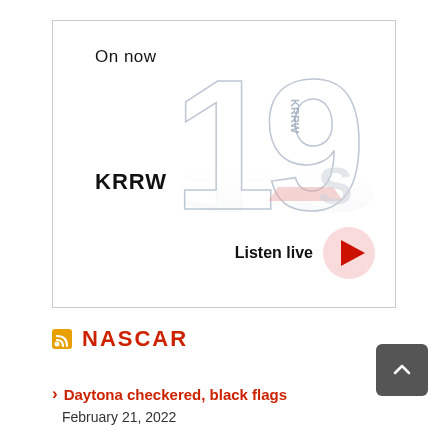[Figure (screenshot): KRRW radio station widget showing 'On now' text, large stylized numbers with KRRW logo, and Listen live button with red play triangle]
NASCAR
Daytona checkered, black flags
February 21, 2022